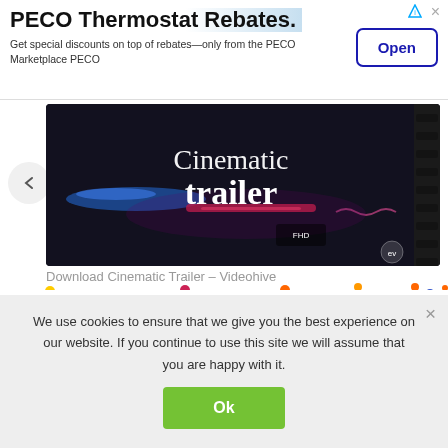[Figure (screenshot): Advertisement banner for PECO Thermostat Rebates with Open button]
PECO Thermostat Rebates.
Get special discounts on top of rebates—only from the PECO Marketplace PECO
[Figure (screenshot): Video thumbnail for Cinematic Trailer on Videohive, dark background with blue and red light streaks, white text 'Cinematic trailer', FHD badge]
Download Cinematic Trailer – Videohive
We use cookies to ensure that we give you the best experience on our website. If you continue to use this site we will assume that you are happy with it.